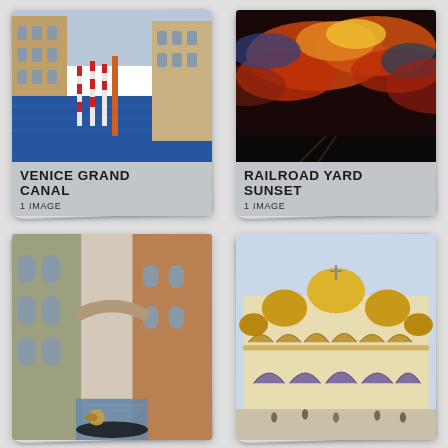[Figure (illustration): Painting card showing Venice Grand Canal with gondola poles and blue water, buildings on sides. Label: VENICE GRAND CANAL, 1 IMAGE]
[Figure (illustration): Painting card showing Railroad Yard Sunset with dramatic orange and red sky with clouds. Label: RAILROAD YARD SUNSET, 1 IMAGE]
[Figure (illustration): Painting card showing a Venice narrow canal with old brick buildings and a gondola with bronze lion figurehead]
[Figure (illustration): Painting card showing St. Mark's Basilica in Venice with golden domes and arches, crowd in piazza]